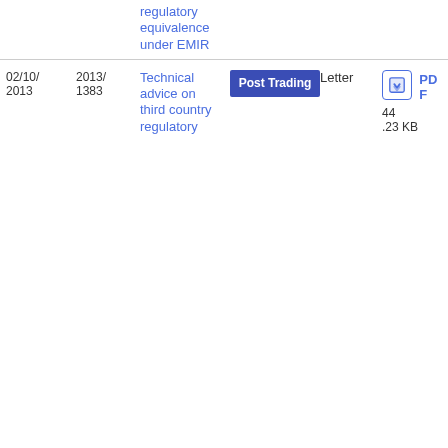| Date | Reference | Title | Category | Type | File |
| --- | --- | --- | --- | --- | --- |
|  |  | regulatory equivalence under EMIR |  |  |  |
| 02/10/2013 | 2013/1383 | Technical advice on third country regulatory | Post Trading | Letter | PDF 44.23 KB |